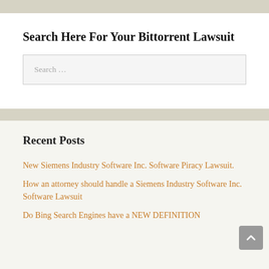Search Here For Your Bittorrent Lawsuit
Search …
Recent Posts
New Siemens Industry Software Inc. Software Piracy Lawsuit.
How an attorney should handle a Siemens Industry Software Inc. Software Lawsuit
Do Bing Search Engines have a NEW DEFINITION